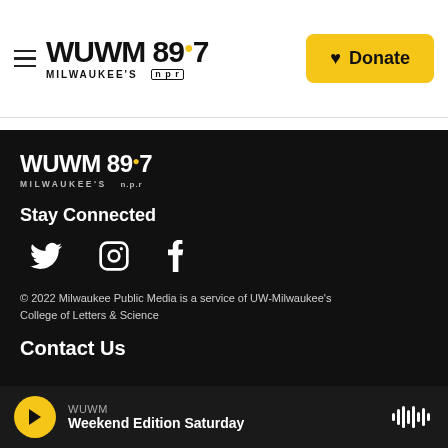WUWM 89.7 Milwaukee's NPR — Donate
[Figure (logo): WUWM 89.7 Milwaukee's NPR logo in dark footer area]
Stay Connected
[Figure (infographic): Social media icons: Twitter, Instagram, Facebook]
© 2022 Milwaukee Public Media is a service of UW-Milwaukee's College of Letters & Science
Contact Us
WUWM — Weekend Edition Saturday